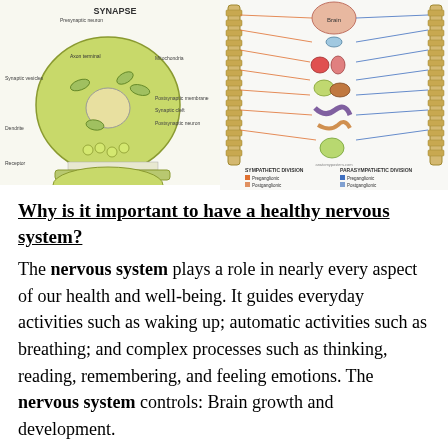[Figure (illustration): Left: Diagram of a synapse showing presynaptic neuron, postsynaptic neuron, mitochondria, synaptic vesicles, synaptic cleft, and postsynaptic membrane with labels. Right: Diagram of the autonomic nervous system showing the spinal cord, ganglia, and connections to various organs including brain, heart, lungs, stomach, intestines, and other organs, with a legend for sympathetic and parasympathetic divisions.]
Why is it important to have a healthy nervous system?
The nervous system plays a role in nearly every aspect of our health and well-being. It guides everyday activities such as waking up; automatic activities such as breathing; and complex processes such as thinking, reading, remembering, and feeling emotions. The nervous system controls: Brain growth and development.
The nervous consists of the brain, the spinal cord, and neurons. It is arguably the most important system of the body. Two of the primary components of the central